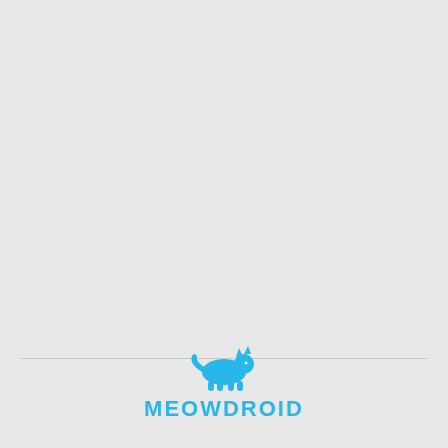[Figure (logo): Meowdroid logo: a blue cat silhouette above the text MEOWDROID in bold blue capital letters]
MEOWDROID